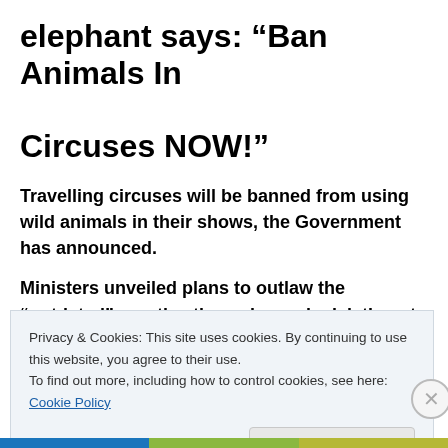elephant says: “Ban Animals In Circuses NOW!”
Travelling circuses will be banned from using wild animals in their shows, the Government has announced.
Ministers unveiled plans to outlaw the “outdated” practice through new legislation at the “earliest
Privacy & Cookies: This site uses cookies. By continuing to use this website, you agree to their use.
To find out more, including how to control cookies, see here: Cookie Policy